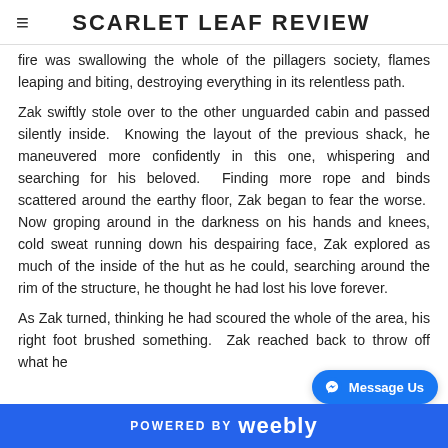SCARLET LEAF REVIEW
fire was swallowing the whole of the pillagers society, flames leaping and biting, destroying everything in its relentless path.
Zak swiftly stole over to the other unguarded cabin and passed silently inside. Knowing the layout of the previous shack, he maneuvered more confidently in this one, whispering and searching for his beloved. Finding more rope and binds scattered around the earthy floor, Zak began to fear the worse. Now groping around in the darkness on his hands and knees, cold sweat running down his despairing face, Zak explored as much of the inside of the hut as he could, searching around the rim of the structure, he thought he had lost his love forever.
As Zak turned, thinking he had scoured the whole of the area, his right foot brushed something. Zak reached back to throw off what he
POWERED BY weebly